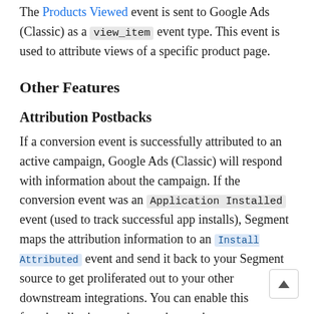The Products Viewed event is sent to Google Ads (Classic) as a view_item event type. This event is used to attribute views of a specific product page.
Other Features
Attribution Postbacks
If a conversion event is successfully attributed to an active campaign, Google Ads (Classic) will respond with information about the campaign. If the conversion event was an Application Installed event (used to track successful app installs), Segment maps the attribution information to an Install Attributed event and send it back to your Segment source to get proliferated out to your other downstream integrations. You can enable this functionality in your integration settings.